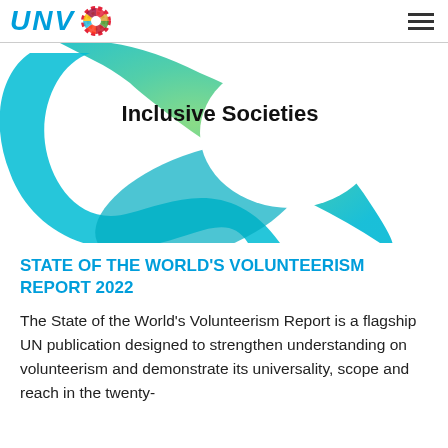UNV [SDG wheel logo] [hamburger menu]
[Figure (illustration): Circular arc shape in gradient green and teal/cyan colors with 'Inclusive Societies' text in bold black on white background inside the arc]
STATE OF THE WORLD'S VOLUNTEERISM REPORT 2022
The State of the World's Volunteerism Report is a flagship UN publication designed to strengthen understanding on volunteerism and demonstrate its universality, scope and reach in the twenty-